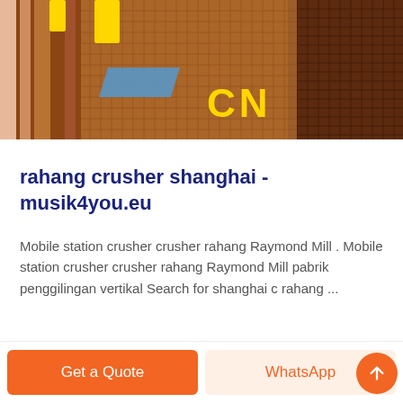[Figure (photo): Industrial machinery photo showing a large mesh/screen structure with metal frame, yellow 'CN' text visible, and blue components. Industrial crusher or mill equipment.]
rahang crusher shanghai - musik4you.eu
Mobile station crusher crusher rahang Raymond Mill . Mobile station crusher crusher rahang Raymond Mill pabrik penggilingan vertikal Search for shanghai c rahang ...
Get a Quote
WhatsApp